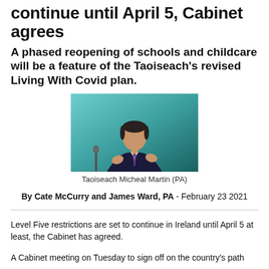continue until April 5, Cabinet agrees
A phased reopening of schools and childcare will be a feature of the Taoiseach's revised Living With Covid plan.
[Figure (photo): Taoiseach Micheal Martin speaking, with teal background, wearing dark suit and purple tie, gesturing with hands]
Taoiseach Micheal Martin (PA)
By Cate McCurry and James Ward, PA - February 23 2021
Level Five restrictions are set to continue in Ireland until April 5 at least, the Cabinet has agreed.
A Cabinet meeting on Tuesday to sign off on the country's path